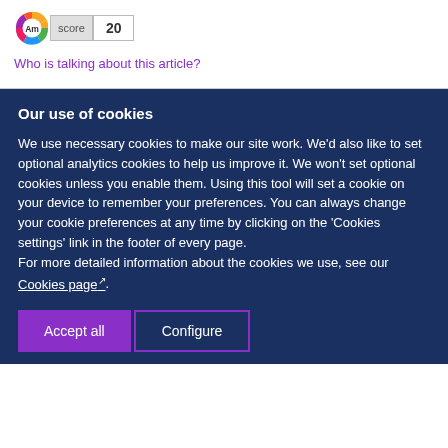[Figure (logo): Altmetric score badge showing a colorful donut logo with 'Am score' label and score value of 20]
Who is talking about this article?
Our use of cookies
We use necessary cookies to make our site work. We'd also like to set optional analytics cookies to help us improve it. We won't set optional cookies unless you enable them. Using this tool will set a cookie on your device to remember your preferences. You can always change your cookie preferences at any time by clicking on the 'Cookies settings' link in the footer of every page.
For more detailed information about the cookies we use, see our Cookies page.
Accept all
Configure